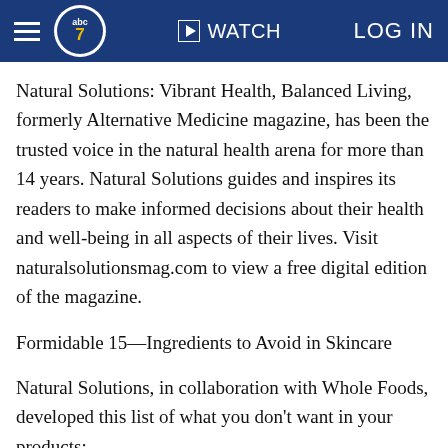abc7 | WATCH | LOG IN
Natural Solutions: Vibrant Health, Balanced Living, formerly Alternative Medicine magazine, has been the trusted voice in the natural health arena for more than 14 years. Natural Solutions guides and inspires its readers to make informed decisions about their health and well-being in all aspects of their lives. Visit naturalsolutionsmag.com to view a free digital edition of the magazine.
Formidable 15—Ingredients to Avoid in Skincare
Natural Solutions, in collaboration with Whole Foods, developed this list of what you don't want in your products:
1. Synthetic fragrances often contain phthalates (pronounced THAY-lates), synthetic chemicals commonly used to stabilize fragrances and make plastic more pliable. These